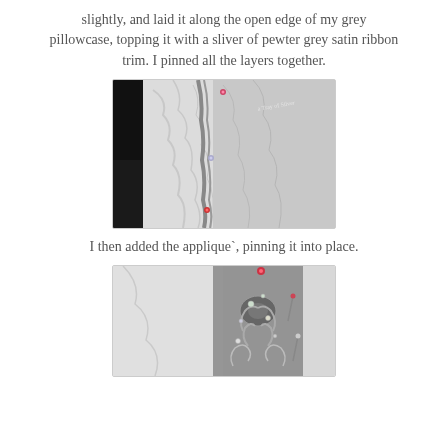slightly, and laid it along the open edge of my grey pillowcase, topping it with a sliver of pewter grey satin ribbon trim. I pinned all the layers together.
[Figure (photo): Close-up photo of white fabric/pillowcase with grey satin ribbon trim pinned along the open edge, with pink and red sewing pins visible.]
I then added the applique`, pinning it into place.
[Figure (photo): Close-up photo of grey floral/beaded applique pinned onto white fabric, showing decorative embellishments with beads and flowers.]